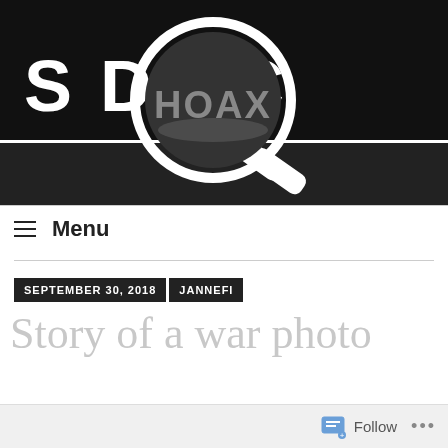[Figure (logo): Website header banner showing black background with white bold text 'S DISC HOAX IN FIN' and a magnifying glass illustration centered over the word HOAX]
≡  Menu
SEPTEMBER 30, 2018   JANNEFI
Story of a war photo
Follow ...